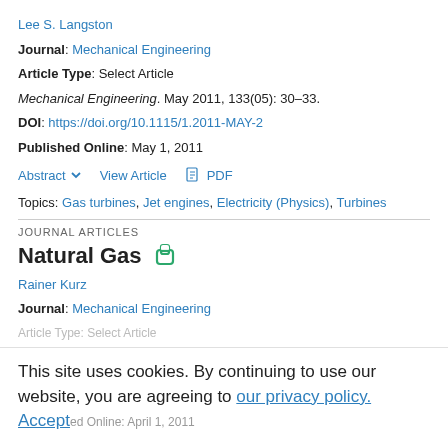Lee S. Langston
Journal: Mechanical Engineering
Article Type: Select Article
Mechanical Engineering. May 2011, 133(05): 30–33.
DOI: https://doi.org/10.1115/1.2011-MAY-2
Published Online: May 1, 2011
Abstract  View Article  PDF
Topics: Gas turbines, Jet engines, Electricity (Physics), Turbines
JOURNAL ARTICLES
Natural Gas
Rainer Kurz
Journal: Mechanical Engineering
Article Type: Select Article
This site uses cookies. By continuing to use our website, you are agreeing to our privacy policy. Accept